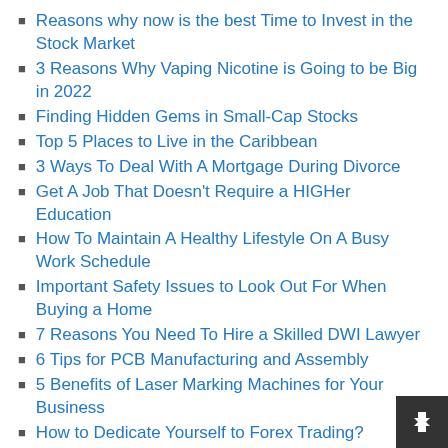Reasons why now is the best Time to Invest in the Stock Market
3 Reasons Why Vaping Nicotine is Going to be Big in 2022
Finding Hidden Gems in Small-Cap Stocks
Top 5 Places to Live in the Caribbean
3 Ways To Deal With A Mortgage During Divorce
Get A Job That Doesn't Require a HIGHer Education
How To Maintain A Healthy Lifestyle On A Busy Work Schedule
Important Safety Issues to Look Out For When Buying a Home
7 Reasons You Need To Hire a Skilled DWI Lawyer
6 Tips for PCB Manufacturing and Assembly
5 Benefits of Laser Marking Machines for Your Business
How to Dedicate Yourself to Forex Trading?